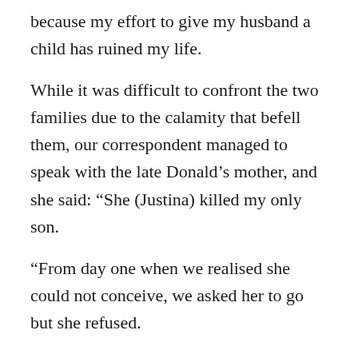because my effort to give my husband a child has ruined my life.
While it was difficult to confront the two families due to the calamity that befell them, our correspondent managed to speak with the late Donald’s mother, and she said: “She (Justina) killed my only son.
“From day one when we realised she could not conceive, we asked her to go but she refused.
“She brought instability into my son’s life which led to his death.
“My son told me all that happened before he died.”
She refused to talk further in spite of promptings .